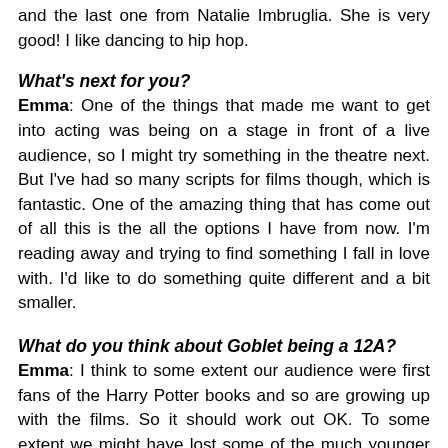and the last one from Natalie Imbruglia. She is very good! I like dancing to hip hop.
What's next for you?
Emma: One of the things that made me want to get into acting was being on a stage in front of a live audience, so I might try something in the theatre next. But I've had so many scripts for films though, which is fantastic. One of the amazing thing that has come out of all this is the all the options I have from now. I'm reading away and trying to find something I fall in love with. I'd like to do something quite different and a bit smaller.
What do you think about Goblet being a 12A?
Emma: I think to some extent our audience were first fans of the Harry Potter books and so are growing up with the films. So it should work out OK. To some extent we might have lost some of the much younger audience. I'm in it and I was scared! But at the same time I think that we will have gained from it. I think this one is much more of a thriller than it ever has been before. You can't avoid the fact that someone dies in it at the end of the day. There are some very serious and